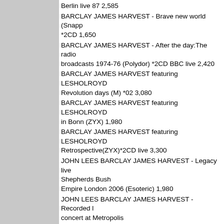Berlin live 87 2,585
BARCLAY JAMES HARVEST - Brave new world (Snapp *2CD 1,650
BARCLAY JAMES HARVEST - After the day:The radio broadcasts 1974-76 (Polydor) *2CD BBC live 2,420
BARCLAY JAMES HARVEST featuring LESHOLROYD Revolution days (M) *02 3,080
BARCLAY JAMES HARVEST featuring LESHOLROYD in Bonn (ZYX) 1,980
BARCLAY JAMES HARVEST featuring LESHOLROYD Retrospective(ZYX)*2CD live 3,300
JOHN LEES BARCLAY JAMES HARVEST - Legacy live Shepherds Bush Empire London 2006 (Esoteric) 1,980
JOHN LEES BARCLAY JAMES HARVEST - Recorded live concert at Metropolis Studios, London (Convexe) *live 10. CD+DVD:NTSC 2,6
JOHN LEES BARCLAY JAMES HARVEST - High Volta July 23.11 (HV) 1,980
JOHN LEES BARCLAY JAMES HARVEST - North (Eso *13 2,200
JOHN LEES BARCLAY JAMES HARVEST - North:delu (Esoteric) *13 2,640
BARON - Torpor (Svart) *15
*3rd.......................................................2,200